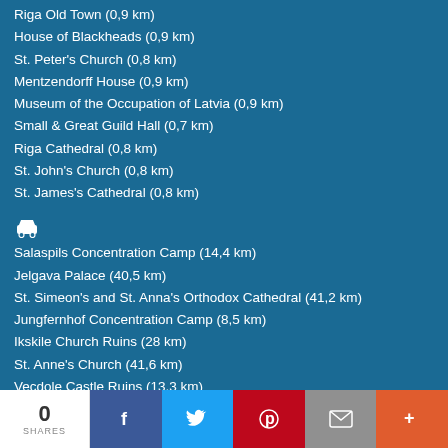Riga Old Town (0,9 km)
House of Blackheads (0,9 km)
St. Peter's Church (0,8 km)
Mentzendorff House (0,9 km)
Museum of the Occupation of Latvia (0,9 km)
Small & Great Guild Hall (0,7 km)
Riga Cathedral (0,8 km)
St. John's Church (0,8 km)
St. James's Cathedral (0,8 km)
Salaspils Concentration Camp (14,4 km)
Jelgava Palace (40,5 km)
St. Simeon's and St. Anna's Orthodox Cathedral (41,2 km)
Jungfernhof Concentration Camp (8,5 km)
Ikskile Church Ruins (28 km)
St. Anne's Church (41,6 km)
Vecdole Castle Ruins (13,3 km)
Daugavgriva Castle Ruins (11,3 km)
0 SHARES | Facebook | Twitter | Pinterest | Email | More